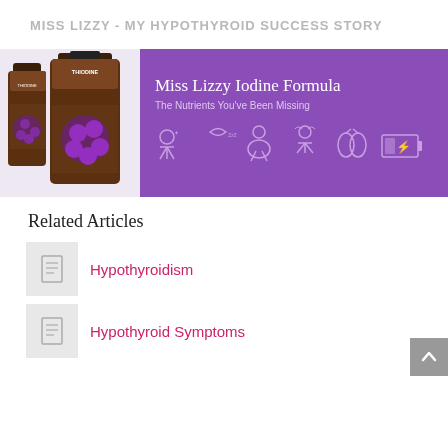MISS LIZZY - MY HYPOTHYROID SUCCESS STORY
[Figure (photo): Miss Lizzy Iodine Formula product advertisement banner showing two product bottles (Thiodine) on a light background and purple section with text 'Miss Lizzy Iodine Formula - The Nutrients You've Been Missing' and health-related icons including a person, moon with ZZZ, overweight figure, fatigued person, thyroid, and battery]
Related Articles
Hypothyroidism
Hypothyroid Symptoms